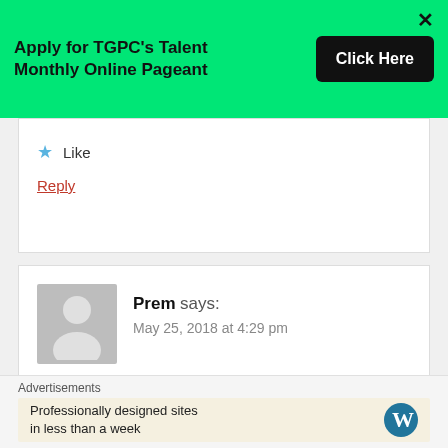[Figure (infographic): Green banner ad: 'Apply for TGPC's Talent Monthly Online Pageant' with black 'Click Here' button and X close button]
Like
Reply
Prem says: May 25, 2018 at 4:29 pm
Aruncahal
Like
Advertisements
Professionally designed sites in less than a week